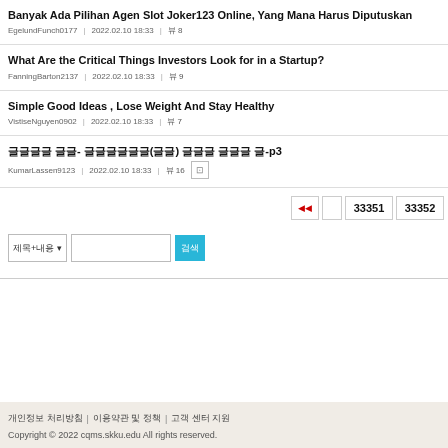Banyak Ada Pilihan Agen Slot Joker123 Online, Yang Mana Harus Diputuskan
EgelundFunch0177 | 2022.02.10 18:33 | 뷰8
What Are the Critical Things Investors Look for in a Startup?
FanningBarton2137 | 2022.02.10 18:33 | 뷰9
Simple Good Ideas , Lose Weight And Stay Healthy
Vistisen Nguyen0902 | 2022.02.10 18:33 | 뷰7
글제목글 글제목- 한국어글글글글(한국어) 글제목 글제목글 글-p3
KumarLassen9123 | 2022.02.10 18:33 | 뷰16 [이미지]
Pagination: rewind | blank | 33351 | 33352
제목+내용 ▾ [검색입력] 검색
개인정보 처리방침 | 이용약관 및 정책 | 고객 센터 지원
Copyright © 2022 cqms.skku.edu All rights reserved.